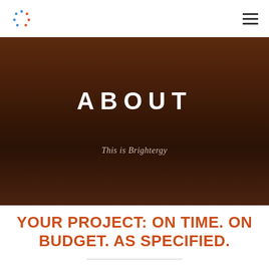Brightergy logo and navigation menu
ABOUT
This is Brightergy
YOUR PROJECT: ON TIME. ON BUDGET. AS SPECIFIED.